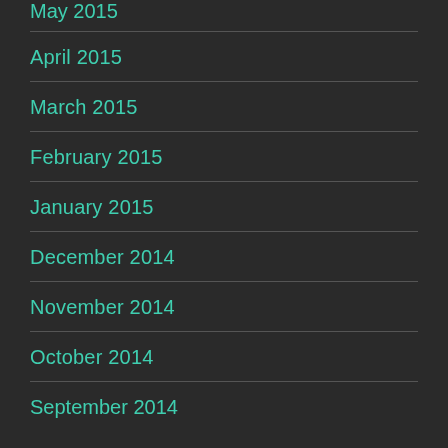May 2015
April 2015
March 2015
February 2015
January 2015
December 2014
November 2014
October 2014
September 2014